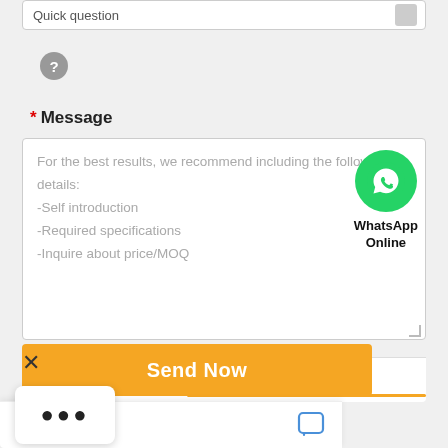Quick question
[Figure (other): Question mark icon, circular grey button]
* Message
For the best results, we recommend including the following details:
-Self introduction
-Required specifications
-Inquire about price/MOQ
[Figure (logo): WhatsApp Online green circle icon with phone handset and text 'WhatsApp Online']
Send Now
[Figure (other): Three dots (...) popup menu]
Chat now
[Figure (other): Chat bubble icon in blue]